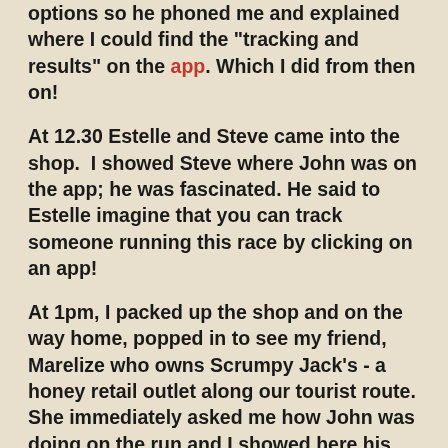options so he phoned me and explained where I could find the "tracking and results" on the app. Which I did from then on!
At 12.30 Estelle and Steve came into the shop.  I showed Steve where John was on the app; he was fascinated. He said to Estelle imagine that you can track someone running this race by clicking on an app!
At 1pm, I packed up the shop and on the way home, popped in to see my friend, Marelize who owns Scrumpy Jack's - a honey retail outlet along our tourist route. She immediately asked me how John was doing on the run and I showed here his progress on the app.After a cup of coffee with Marelize I left for home promising her I'd keep her informed about John.
By the time I'd done my Sunday afternoon chores